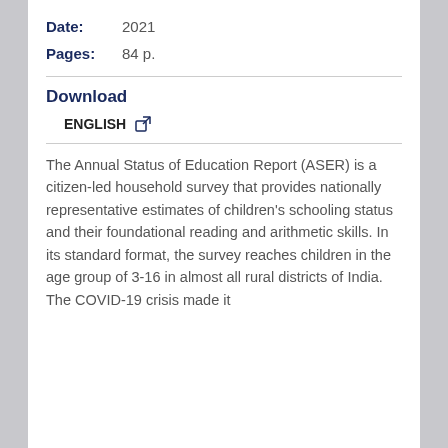Date: 2021
Pages: 84 p.
Download
ENGLISH
The Annual Status of Education Report (ASER) is a citizen-led household survey that provides nationally representative estimates of children's schooling status and their foundational reading and arithmetic skills. In its standard format, the survey reaches children in the age group of 3-16 in almost all rural districts of India. The COVID-19 crisis made it